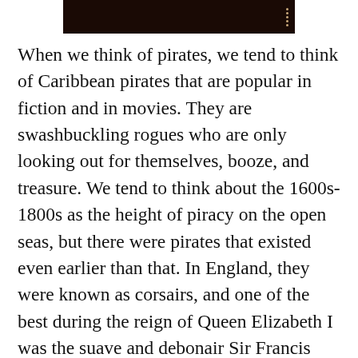[Figure (photo): Partial image at top of page showing a dark background with decorative pearl/bead details visible on the right side, appearing to be a portrait photo cropped at the bottom.]
When we think of pirates, we tend to think of Caribbean pirates that are popular in fiction and in movies. They are swashbuckling rogues who are only looking out for themselves, booze, and treasure. We tend to think about the 1600s-1800s as the height of piracy on the open seas, but there were pirates that existed even earlier than that. In England, they were known as corsairs, and one of the best during the reign of Queen Elizabeth I was the suave and debonair Sir Francis Drake. Although he did circumnavigate the world and helped the English defeat the Spanish